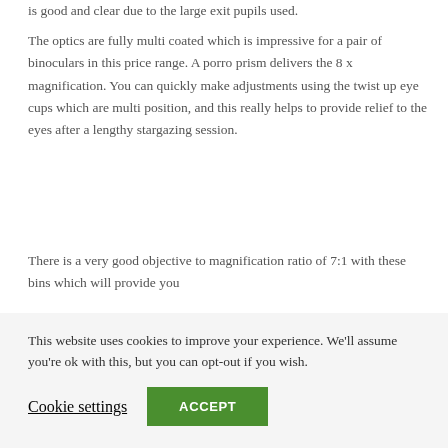is good and clear due to the large exit pupils used.
The optics are fully multi coated which is impressive for a pair of binoculars in this price range. A porro prism delivers the 8 x magnification. You can quickly make adjustments using the twist up eye cups which are multi position, and this really helps to provide relief to the eyes after a lengthy stargazing session.
There is a very good objective to magnification ratio of 7:1 with these bins which will provide you
This website uses cookies to improve your experience. We'll assume you're ok with this, but you can opt-out if you wish.
Cookie settings
ACCEPT